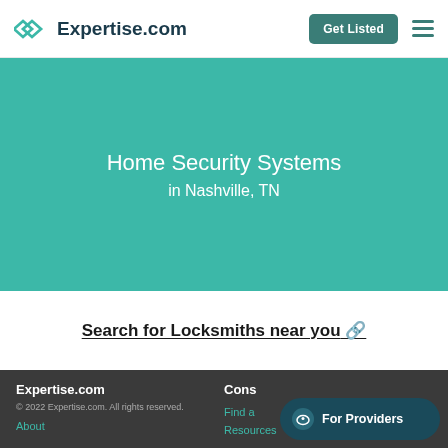Expertise.com | Get Listed
Home Security Systems in Nashville, TN
Search for Locksmiths near you 🔗
Expertise.com © 2022 Expertise.com. All rights reserved. About | Cons... Find a... Resources | For Providers